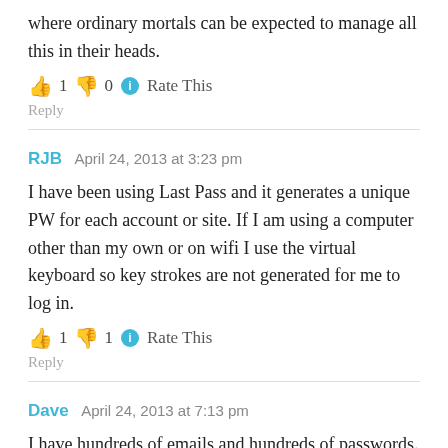where ordinary mortals can be expected to manage all this in their heads.
👍 1 👎 0 ℹ Rate This
Reply
RJB   April 24, 2013 at 3:23 pm
I have been using Last Pass and it generates a unique PW for each account or site. If I am using a computer other than my own or on wifi I use the virtual keyboard so key strokes are not generated for me to log in.
👍 1 👎 1 ℹ Rate This
Reply
Dave   April 24, 2013 at 7:13 pm
I have hundreds of emails and hundreds of passwords. They